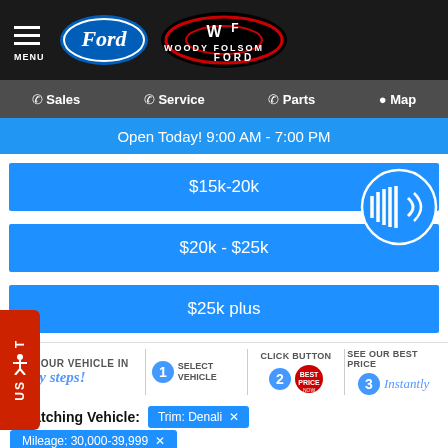[Figure (logo): Black header bar with hamburger menu icon labeled MENU, Ford oval logo in blue and silver, and Woody Folsom Ford dealership logo in red/white/black oval]
Sales  Service  Parts  Map
Open Today! 9:00 AM - 7:00 PM
$15k-20k
$20k - $25k
$25k plus
[Figure (infographic): Buy your vehicle in 3 easy steps! Step 1: Select Vehicle, Step 2: Click Button (Best Price Now red badge), Step 3: See Our Best Price Instantly]
1 Matching Vehicle:  Trim: Denali ✕
Mileage: 30,000-39,999 ✕